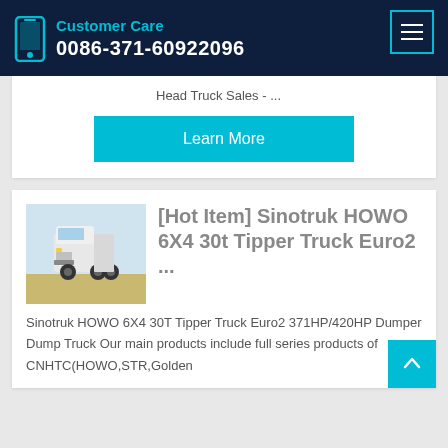Customer Care 0086-371-60922096
Head Truck Sales - ...
Learn More
[Figure (photo): White Sinotruk HOWO truck cab parked outdoors]
[Hot Item] Sinotruk HOWO 6X4 30t Tipper Truck Euro2 ...
Sinotruk HOWO 6X4 30T Tipper Truck Euro2 371HP/420HP Dumper Dump Truck Our main products include full series products of CNHTC(HOWO,STR,Golden